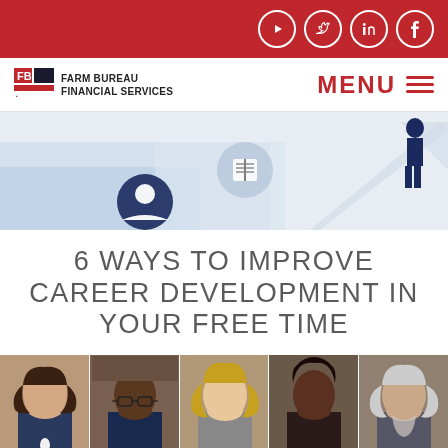Farm Bureau Financial Services – social icons header
[Figure (logo): Farm Bureau Financial Services logo with FB icon and MENU hamburger navigation]
[Figure (illustration): Cartoon illustration showing career development concepts with figures, book icon, person icon, and upward arrow on light blue background]
6 WAYS TO IMPROVE CAREER DEVELOPMENT IN YOUR FREE TIME
[Figure (photo): Five professional headshots side by side: young Hispanic woman, Black man with glasses, young blonde woman, Black woman, older white-haired man]